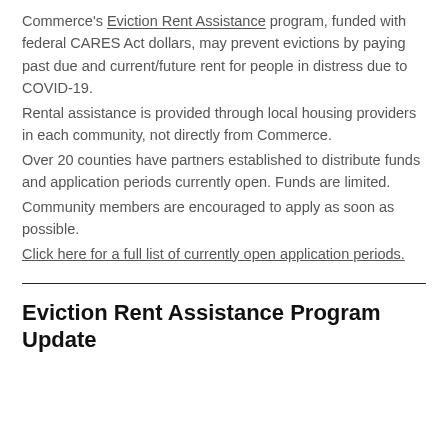Commerce's Eviction Rent Assistance program, funded with federal CARES Act dollars, may prevent evictions by paying past due and current/future rent for people in distress due to COVID-19. Rental assistance is provided through local housing providers in each community, not directly from Commerce. Over 20 counties have partners established to distribute funds and application periods currently open. Funds are limited. Community members are encouraged to apply as soon as possible. Click here for a full list of currently open application periods.
Eviction Rent Assistance Program Update